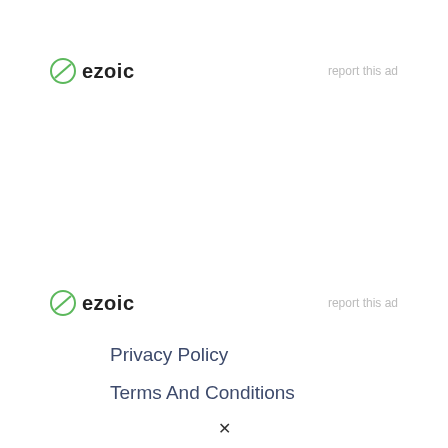[Figure (logo): Ezoic logo with green circle icon and bold 'ezoic' text, with 'report this ad' link on the right]
[Figure (logo): Ezoic logo with green circle icon and bold 'ezoic' text, with 'report this ad' link on the right]
Privacy Policy
Terms And Conditions
x